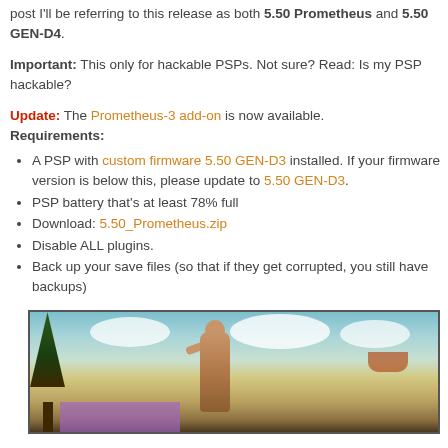post I'll be referring to this release as both 5.50 Prometheus and 5.50 GEN-D4.
Important: This only for hackable PSPs. Not sure? Read: Is my PSP hackable?
Update: The Prometheus-3 add-on is now available. Requirements:
A PSP with custom firmware 5.50 GEN-D3 installed. If your firmware version is below this, please update to 5.50 GEN-D3.
PSP battery that's at least 78% full
Download: 5.50_Prometheus.zip
Disable ALL plugins.
Back up your save files (so that if they get corrupted, you still have backups)
[Figure (illustration): Illustration showing a painting-style image of a figure standing with raised arm among clouds, trees on left, and a boat on the right, with a purple rectangle overlay at bottom left.]